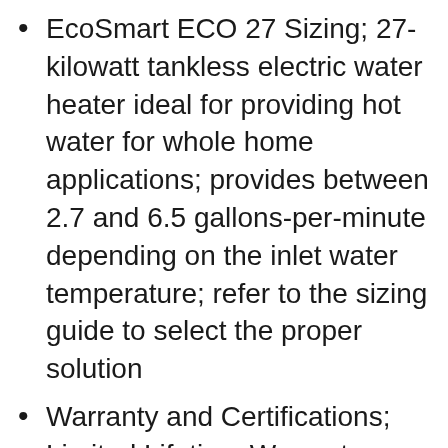EcoSmart ECO 27 Sizing; 27-kilowatt tankless electric water heater ideal for providing hot water for whole home applications; provides between 2.7 and 6.5 gallons-per-minute depending on the inlet water temperature; refer to the sizing guide to select the proper solution
Warranty and Certifications; Limited Lifetime Warranty on electronics, exchanger and element; UL-499 certified; ETL Listed
Required Breaker Quantity: Three 40 Amp Double Pole
Recommended Electrical Panel: 200 Amps
NEVER run out of hot water with an ECOSMART tankless water heater